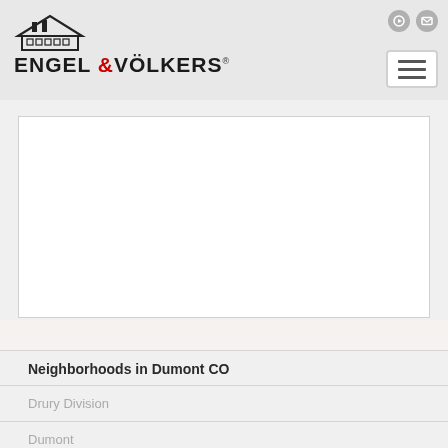Engel & Völkers
[Figure (map): Embedded map placeholder showing a geographic area, displayed as a white rectangle]
Neighborhoods in Dumont CO
Drury Division
Dumont